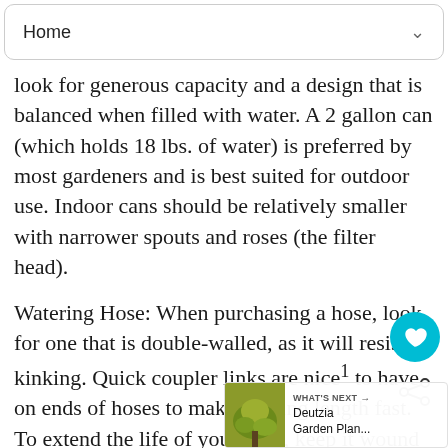Home
look for generous capacity and a design that is balanced when filled with water. A 2 gallon can (which holds 18 lbs. of water) is preferred by most gardeners and is best suited for outdoor use. Indoor cans should be relatively smaller with narrower spouts and roses (the filter head).
Watering Hose: When purchasing a hose, look for one that is double-walled, as it will resist kinking. Quick coupler links are nice to have on ends of hoses to make altering length fast. To extend the life of your hose, keep it wound around a reel and stored in a shady area. Prior to winter freezes, drain